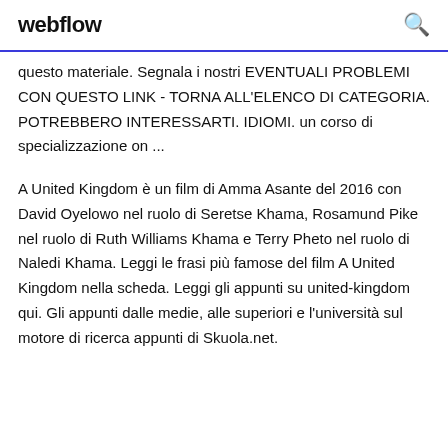webflow
questo materiale. Segnala i nostri EVENTUALI PROBLEMI CON QUESTO LINK - TORNA ALL'ELENCO DI CATEGORIA. POTREBBERO INTERESSARTI. IDIOMI. un corso di specializzazione on ...
A United Kingdom è un film di Amma Asante del 2016 con David Oyelowo nel ruolo di Seretse Khama, Rosamund Pike nel ruolo di Ruth Williams Khama e Terry Pheto nel ruolo di Naledi Khama. Leggi le frasi più famose del film A United Kingdom nella scheda. Leggi gli appunti su united-kingdom qui. Gli appunti dalle medie, alle superiori e l'università sul motore di ricerca appunti di Skuola.net.